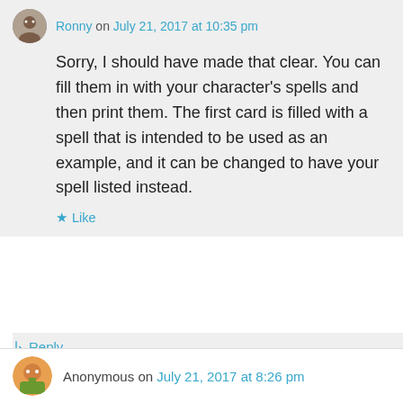Ronny on July 21, 2017 at 10:35 pm
Sorry, I should have made that clear. You can fill them in with your character's spells and then print them. The first card is filled with a spell that is intended to be used as an example, and it can be changed to have your spell listed instead.
★ Like
↳ Reply
Advertisements
[Figure (other): WooCommerce advertisement banner: purple background with WooCommerce logo and text 'How to start selling subscriptions online' with decorative orange and teal shapes]
Anonymous on July 21, 2017 at 8:26 pm